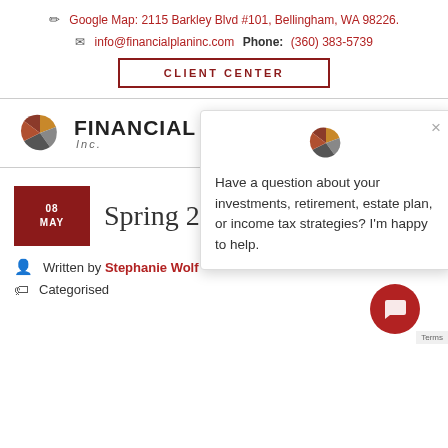Google Map: 2115 Barkley Blvd #101, Bellingham, WA 98226.
info@financialplaninc.com  Phone: (360) 383-5739
CLIENT CENTER
[Figure (logo): Financial Plan Inc. pie-chart logo with company name]
08 MAY   Spring 2...
Written by Stephanie Wolf
Categorised
[Figure (screenshot): Chat popup overlay with Financial Plan Inc. logo and text: Have a question about your investments, retirement, estate plan, or income tax strategies? I'm happy to help.]